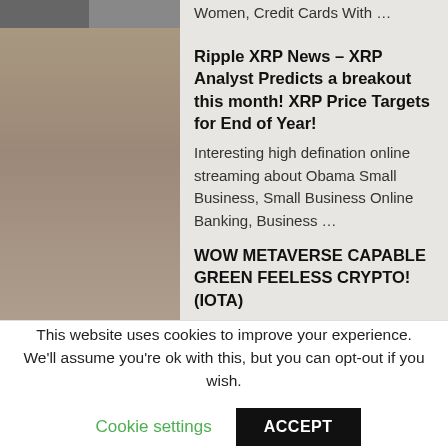Women, Credit Cards With …
Ripple XRP News – XRP Analyst Predicts a breakout this month! XRP Price Targets for End of Year!
Interesting high defination online streaming about Obama Small Business, Small Business Online Banking, Business …
WOW METAVERSE CAPABLE GREEN FEELESS CRYPTO! (IOTA)
Latest complete video top searched Online Banks, Mortgage Loan
This website uses cookies to improve your experience. We'll assume you're ok with this, but you can opt-out if you wish.
Cookie settings
ACCEPT